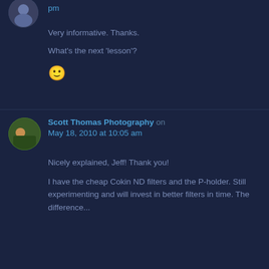pm
Very informative. Thanks.
What's the next 'lesson'?
🙂
[Figure (photo): Avatar photo of Scott Thomas Photography - a person in outdoor/nature setting]
Scott Thomas Photography on May 18, 2010 at 10:05 am
Nicely explained, Jeff! Thank you!

I have the cheap Cokin ND filters and the P-holder. Still experimenting and will invest in better filters in time. The difference...